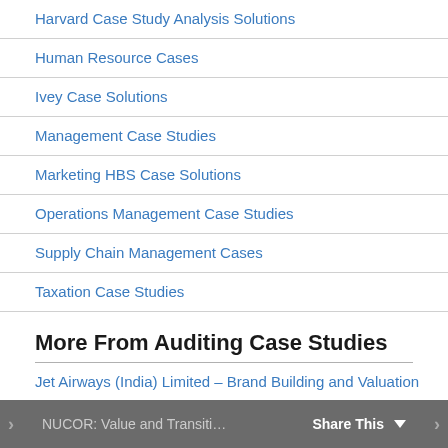Harvard Case Study Analysis Solutions
Human Resource Cases
Ivey Case Solutions
Management Case Studies
Marketing HBS Case Solutions
Operations Management Case Studies
Supply Chain Management Cases
Taxation Case Studies
More From Auditing Case Studies
Jet Airways (India) Limited – Brand Building and Valuation
The Manager (B)
Creating a Volume-Flexible Firm
NUCOR: Value and Transiti… Share This ▼